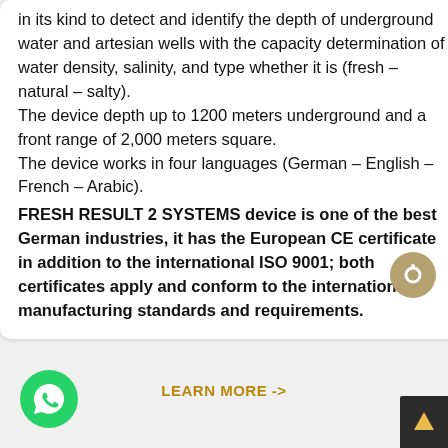in its kind to detect and identify the depth of underground water and artesian wells with the capacity determination of water density, salinity, and type whether it is (fresh – natural – salty). The device depth up to 1200 meters underground and a front range of 2,000 meters square. The device works in four languages (German – English – French – Arabic).
FRESH RESULT 2 SYSTEMS device is one of the best German industries, it has the European CE certificate in addition to the international ISO 9001; both certificates apply and conform to the international manufacturing standards and requirements.
LEARN MORE ->